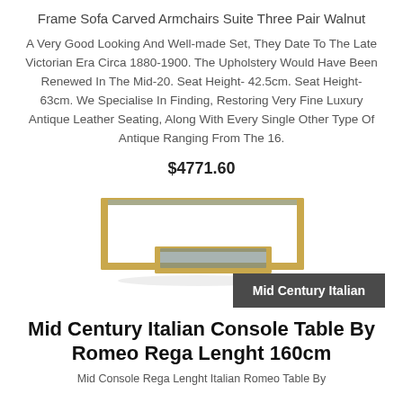Frame Sofa Carved Armchairs Suite Three Pair Walnut
A Very Good Looking And Well-made Set, They Date To The Late Victorian Era Circa 1880-1900. The Upholstery Would Have Been Renewed In The Mid-20. Seat Height- 42.5cm. Seat Height- 63cm. We Specialise In Finding, Restoring Very Fine Luxury Antique Leather Seating, Along With Every Single Other Type Of Antique Ranging From The 16.
$4771.60
[Figure (photo): Mid Century Italian console table by Romeo Rega, gold/brass frame with smoked glass shelves, two-tier rectangular design]
Mid Century Italian Console Table By Romeo Rega Lenght 160cm
Mid Console Rega Lenght Italian Romeo Table By